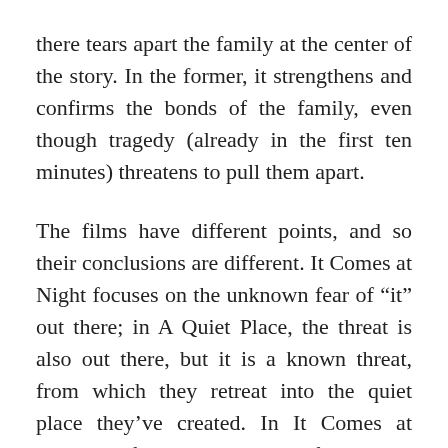there tears apart the family at the center of the story. In the former, it strengthens and confirms the bonds of the family, even though tragedy (already in the first ten minutes) threatens to pull them apart.
The films have different points, and so their conclusions are different. It Comes at Night focuses on the unknown fear of “it” out there; in A Quiet Place, the threat is also out there, but it is a known threat, from which they retreat into the quiet place they’ve created. In It Comes at Night, the father is the source of